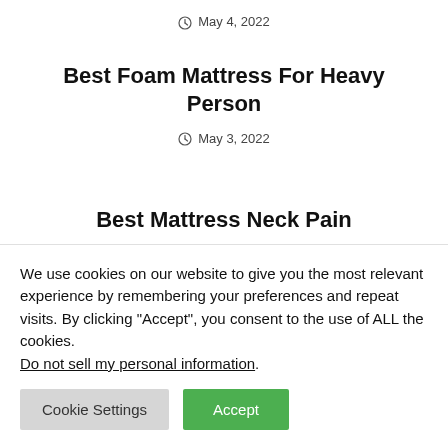May 4, 2022
Best Foam Mattress For Heavy Person
May 3, 2022
Best Mattress Neck Pain
We use cookies on our website to give you the most relevant experience by remembering your preferences and repeat visits. By clicking “Accept”, you consent to the use of ALL the cookies. Do not sell my personal information.